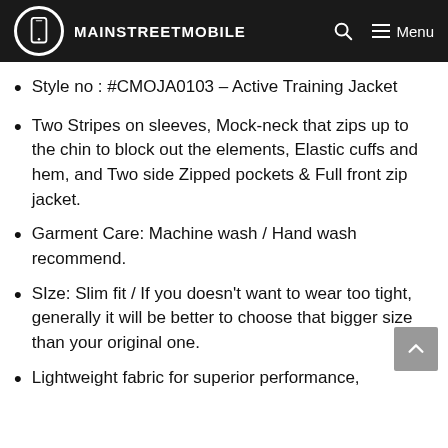MAINSTREETMOBILE
Style no : #CMOJA0103 – Active Training Jacket
Two Stripes on sleeves, Mock-neck that zips up to the chin to block out the elements, Elastic cuffs and hem, and Two side Zipped pockets & Full front zip jacket.
Garment Care: Machine wash / Hand wash recommend.
SIze: Slim fit / If you doesn't want to wear too tight, generally it will be better to choose that bigger size than your original one.
Lightweight fabric for superior performance,